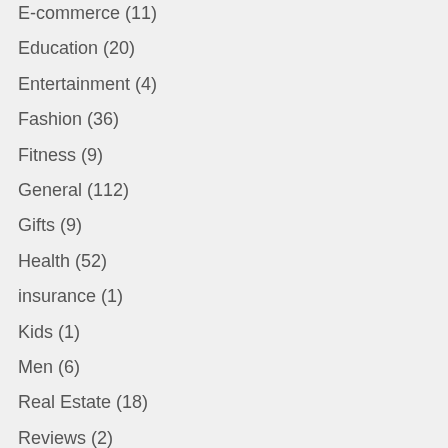E-commerce (11)
Education (20)
Entertainment (4)
Fashion (36)
Fitness (9)
General (112)
Gifts (9)
Health (52)
insurance (1)
Kids (1)
Men (6)
Real Estate (18)
Reviews (2)
Social Media (5)
Stock Trading (1)